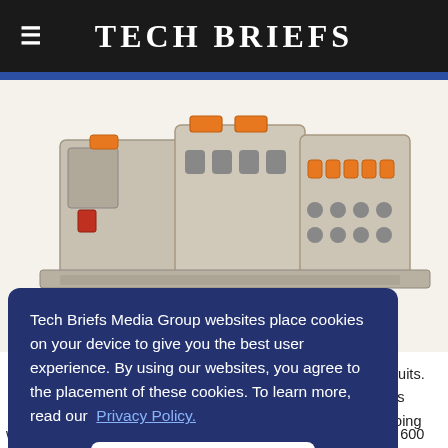Tech Briefs
[Figure (photo): Industrial terminal block connectors with orange push-button actuators and grey plastic housing, showing multiple connection points and DIN rail mounting]
Tech Briefs Media Group websites place cookies on your device to give you the best user experience. By using our websites, you agree to the placement of these cookies. To learn more, read our Privacy Policy.
Accept & Continue
of circuits. ols doing wired connections. The blocks are UL rated up to 30 amps at 600